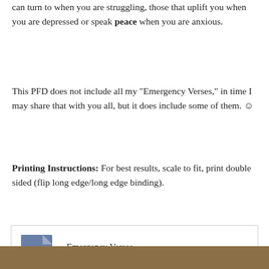can turn to when you are struggling, those that uplift you when you are depressed or speak peace when you are anxious.
This PFD does not include all my "Emergency Verses," in time I may share that with you all, but it does include some of them. ☺
Printing Instructions: For best results, scale to fit, print double sided (flip long edge/long edge binding).
[Figure (other): Download box with document icon for 'Emergency Verses', showing 'Download • 5.17MB']